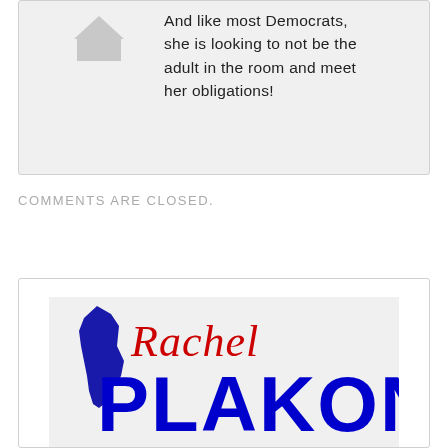And like most Democrats, she is looking to not be the adult in the room and meet her obligations!
COMMENTS ARE CLOSED.
[Figure (logo): Rachel Plakon campaign logo with Florida state outline and name in blue and red text]